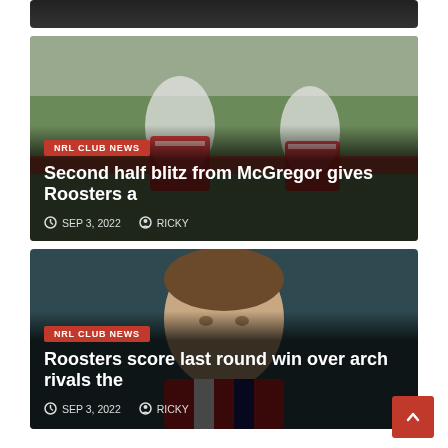[Figure (photo): Top partial image of sports player, dark background, cropped at top]
[Figure (photo): NRL female rugby league players in red and white Roosters uniforms running with ball]
NRL CLUB NEWS
Second half blitz from McGregor gives Roosters a
SEP 3, 2022   RICKY
[Figure (photo): NRL male rugby league player in red and white Roosters jersey, close-up portrait]
NRL CLUB NEWS
Roosters score last round win over arch rivals the
SEP 3, 2022   RICKY